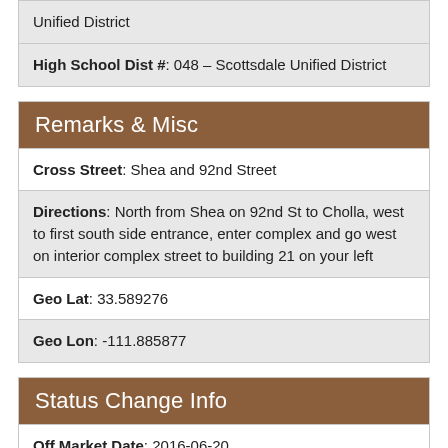Unified District
High School Dist #: 048 – Scottsdale Unified District
Remarks & Misc
Cross Street: Shea and 92nd Street
Directions: North from Shea on 92nd St to Cholla, west to first south side entrance, enter complex and go west on interior complex street to building 21 on your left
Geo Lat: 33.589276
Geo Lon: -111.885877
Status Change Info
Off Market Date: 2016-06-20
Under Contract Date: 2016-06-18